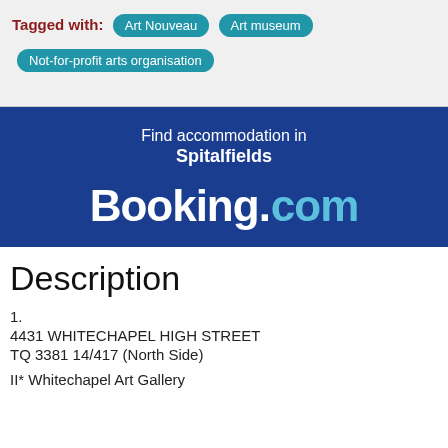Tagged with: Art Nouveau  Art museum  Not-for-profit arts organisation
[Figure (infographic): Booking.com advertisement banner with text 'Find accommodation in Spitalfields' and the Booking.com logo]
Description
1.
4431 WHITECHAPEL HIGH STREET
TQ 3381 14/417 (North Side)
II* Whitechapel Art Gallery